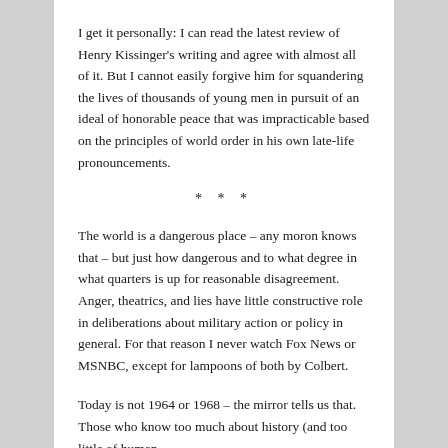I get it personally: I can read the latest review of Henry Kissinger's writing and agree with almost all of it. But I cannot easily forgive him for squandering the lives of thousands of young men in pursuit of an ideal of honorable peace that was impracticable based on the principles of world order in his own late-life pronouncements.
* * *
The world is a dangerous place – any moron knows that – but just how dangerous and to what degree in what quarters is up for reasonable disagreement. Anger, theatrics, and lies have little constructive role in deliberations about military action or policy in general. For that reason I never watch Fox News or MSNBC, except for lampoons of both by Colbert.
Today is not 1964 or 1968 – the mirror tells us that. Those who know too much about history (and too little of human